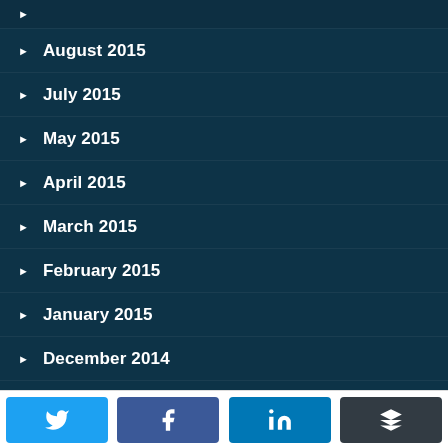August 2015
July 2015
May 2015
April 2015
March 2015
February 2015
January 2015
December 2014
November 2014
October 2014
[Figure (infographic): Social share buttons row: Twitter (blue), Facebook (dark blue), LinkedIn (blue), Buffer (dark grey)]